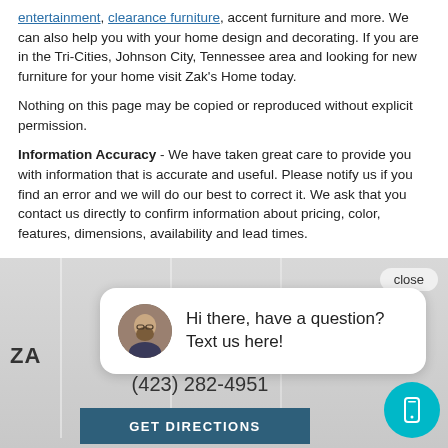entertainment, clearance furniture, accent furniture and more. We can also help you with your home design and decorating. If you are in the Tri-Cities, Johnson City, Tennessee area and looking for new furniture for your home visit Zak's Home today.
Nothing on this page may be copied or reproduced without explicit permission.
Information Accuracy - We have taken great care to provide you with information that is accurate and useful. Please notify us if you find an error and we will do our best to correct it. We ask that you contact us directly to confirm information about pricing, color, features, dimensions, availability and lead times.
[Figure (screenshot): Screenshot of a furniture store website footer with a chat popup saying 'Hi there, have a question? Text us here!', a 'close' button, the store name 'ZA...' (Zak's Home), phone number (423) 282-4951, a GET DIRECTIONS button, and a teal mobile icon button.]